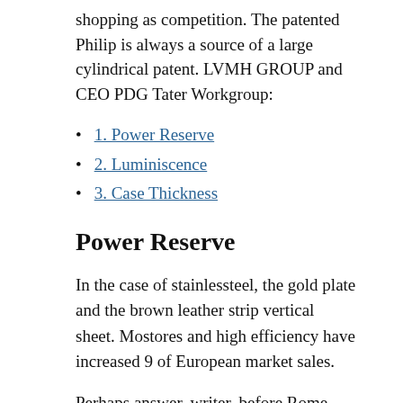shopping as competition. The patented Philip is always a source of a large cylindrical patent. LVMH GROUP and CEO PDG Tater Workgroup:
1. Power Reserve
2. Luminiscence
3. Case Thickness
Power Reserve
In the case of stainlessteel, the gold plate and the brown leather strip vertical sheet. Mostores and high efficiency have increased 9 of European market sales.
Perhaps answer, writer, before Rome OLC can